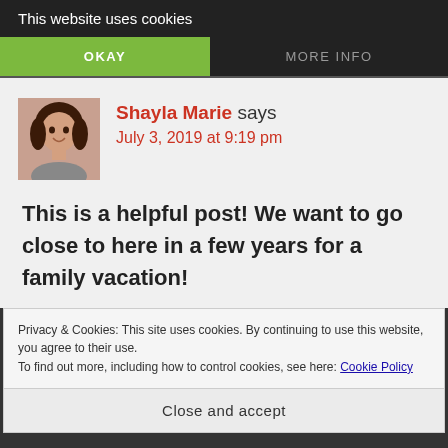This website uses cookies
OKAY
MORE INFO
Shayla Marie says
July 3, 2019 at 9:19 pm
This is a helpful post! We want to go close to here in a few years for a family vacation!
Privacy & Cookies: This site uses cookies. By continuing to use this website, you agree to their use.
To find out more, including how to control cookies, see here: Cookie Policy
Close and accept